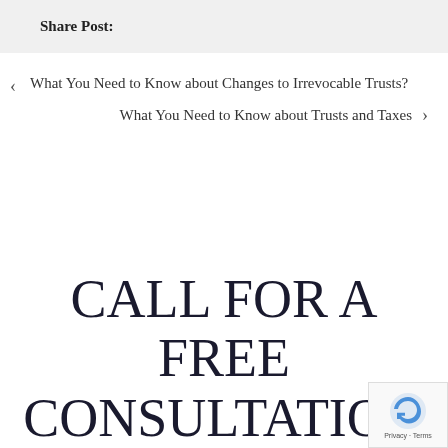Share Post:
< What You Need to Know about Changes to Irrevocable Trusts?
What You Need to Know about Trusts and Taxes >
CALL FOR A FREE CONSULTATION